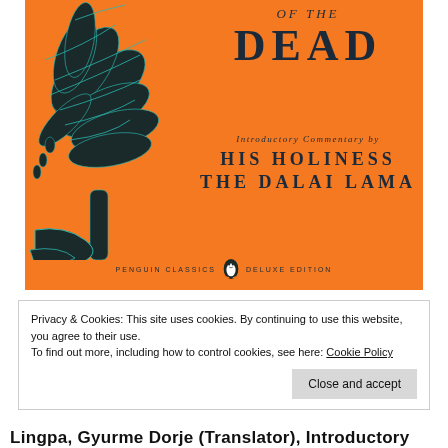[Figure (illustration): Book cover for 'The Tibetan Book of the Dead' - orange background with dark botanical illustration on left side. Text reads 'OF THE DEAD', 'Introductory Commentary by HIS HOLINESS THE DALAI LAMA', 'PENGUIN CLASSICS DELUXE EDITION' with Penguin logo.]
Privacy & Cookies: This site uses cookies. By continuing to use this website, you agree to their use.
To find out more, including how to control cookies, see here: Cookie Policy
Close and accept
Lingpa, Gyurme Dorje (Translator), Introductory